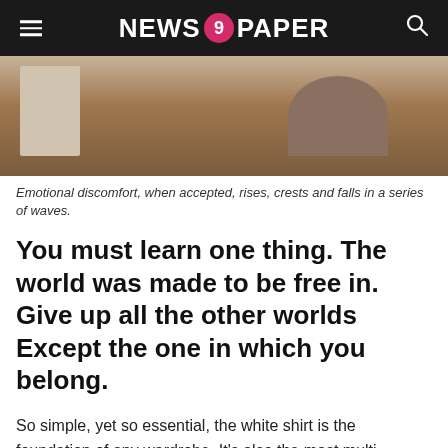NEWS 9 PAPER
[Figure (photo): Person sitting with a laptop, wearing a mauve v-neck top, in a warm indoor setting with wooden furniture.]
Emotional discomfort, when accepted, rises, crests and falls in a series of waves.
You must learn one thing. The world was made to be free in. Give up all the other worlds Except the one in which you belong.
So simple, yet so essential, the white shirt is the foundation of any wardrobe. It's also the most multi-functional item, taking you from work to play with just the quick unfastening of a couple of buttons. It matter what style fitted boyfriend etc or even what fabric from silk to heavy cotton go with whatever suits your personal style